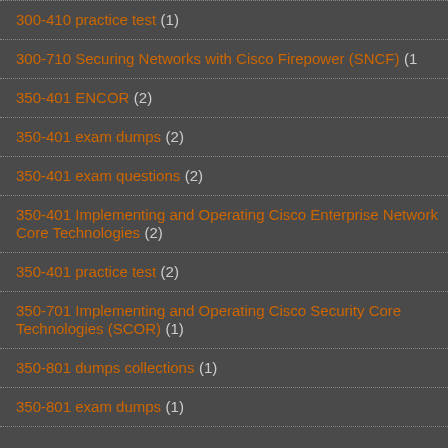300-410 practice test (1)
300-710 Securing Networks with Cisco Firepower (SNCF) (1)
350-401 ENCOR (2)
350-401 exam dumps (2)
350-401 exam questions (2)
350-401 Implementing and Operating Cisco Enterprise Network Core Technologies (2)
350-401 practice test (2)
350-701 Implementing and Operating Cisco Security Core Technologies (SCOR) (1)
350-801 dumps collections (1)
350-801 exam dumps (1)